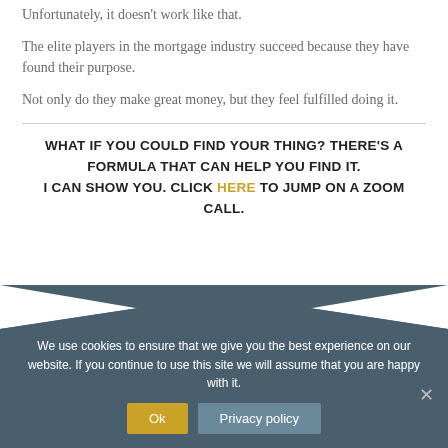Unfortunately, it doesn't work like that.
The elite players in the mortgage industry succeed because they have found their purpose.
Not only do they make great money, but they feel fulfilled doing it.
WHAT IF YOU COULD FIND YOUR THING? THERE'S A FORMULA THAT CAN HELP YOU FIND IT.
I CAN SHOW YOU. CLICK HERE TO JUMP ON A ZOOM CALL.
We use cookies to ensure that we give you the best experience on our website. If you continue to use this site we will assume that you are happy with it.
Ok | Privacy policy